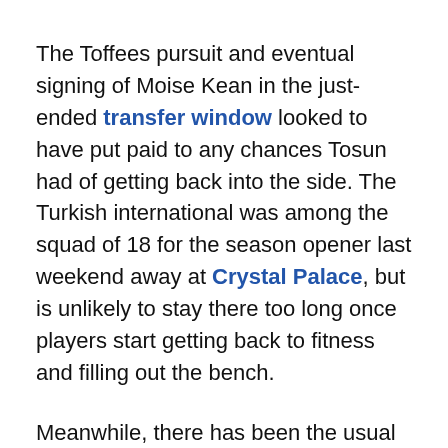The Toffees pursuit and eventual signing of Moise Kean in the just-ended transfer window looked to have put paid to any chances Tosun had of getting back into the side. The Turkish international was among the squad of 18 for the season opener last weekend away at Crystal Palace, but is unlikely to stay there too long once players start getting back to fitness and filling out the bench.
Meanwhile, there has been the usual gaggle of Turkish sides interested in the 28-year-old, but it's the latest club to have come asking for him that has Blues sitting up with interest. Tosun grew up in the vicinity of Eintracht Frankfurt, coming up through their youth ranks before breaking into the senior side back in